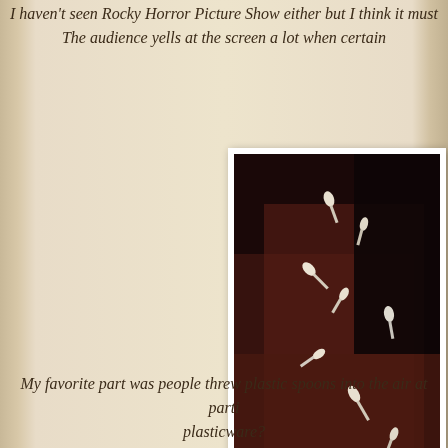I haven't seen Rocky Horror Picture Show either but I think it must be like this:
The audience yells at the screen a lot when certain
[Figure (photo): Dark photograph showing plastic spoons being thrown into the air, captured mid-flight against a dark background with red/brown tones]
My favorite part was people threw plastic spoons into the air at parti plasticware?